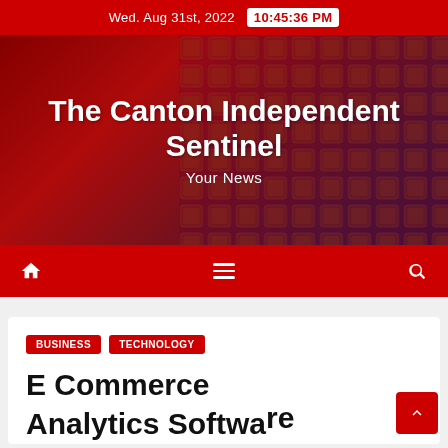Wed. Aug 31st, 2022  10:45:36 PM
The Canton Independent Sentinel
Your News
[Figure (screenshot): Navigation bar with home icon, hamburger menu, and search icon on red background]
BUSINESS
TECHNOLOGY
E Commerce Analytics Software